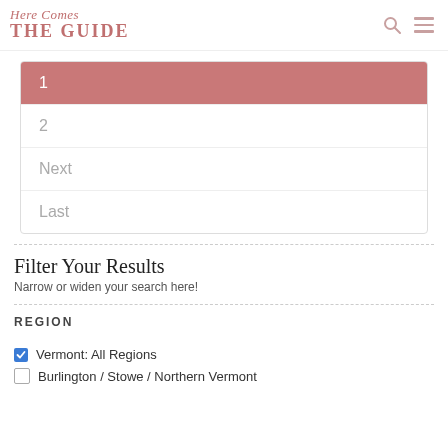Here Comes THE GUIDE
1
2
Next
Last
Filter Your Results
Narrow or widen your search here!
REGION
Vermont: All Regions
Burlington / Stowe / Northern Vermont